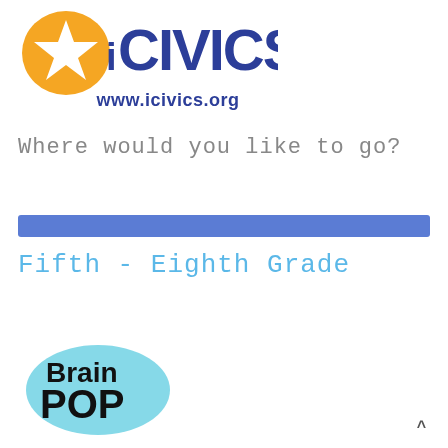[Figure (logo): iCivics logo with orange star and blue text]
www.icivics.org
Where would you like to go?
[Figure (other): Blue horizontal divider bar]
Fifth - Eighth Grade
[Figure (logo): BrainPOP logo with teal oval background, black text Brain POP]
^